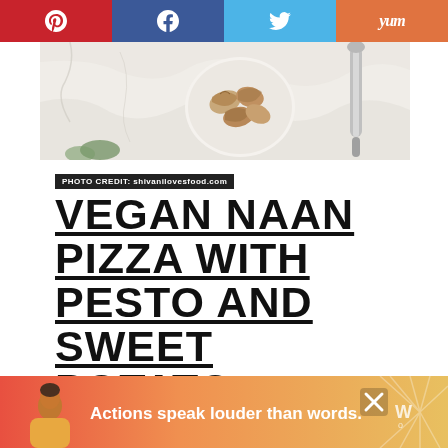Pinterest | Facebook | Twitter | Yummly (social share bar)
[Figure (photo): Overhead food photo showing a bowl of walnuts on a white marble surface with a metal utensil]
PHOTO CREDIT: shivanilovesfood.com
VEGAN NAAN PIZZA WITH PESTO AND SWEET POTATO
This easy vegan naan pizza recipe is a definite weekday favourite! Topped with
[Figure (infographic): Ad banner: figure of person with text 'Actions speak louder than words.' and close button with X]